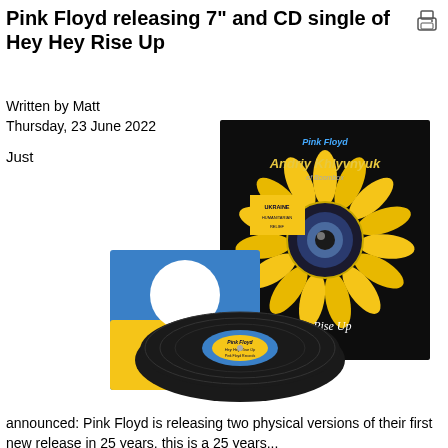Pink Floyd releasing 7" and CD single of Hey Hey Rise Up
Written by Matt
Thursday, 23 June 2022
Just
[Figure (photo): Pink Floyd 'Hey Hey Rise Up' 7-inch vinyl record single with sleeve. The sleeve shows Ukraine blue and yellow colors. The album cover features a sunflower with an eye in its center on a black background with 'Pink Floyd featuring Andriy Khlyvnyuk of Boombox' and 'Hey Hey Rise Up' text.]
announced: Pink Floyd is releasing two physical versions of their first new release in 25 years, this is a 25 years...